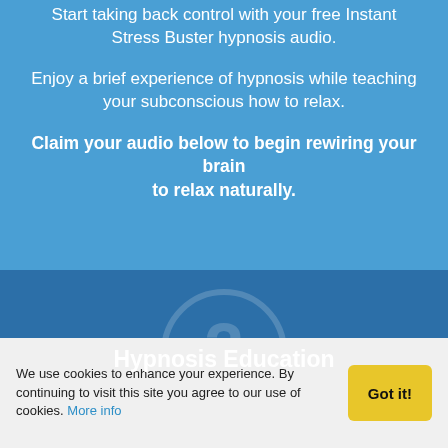Start taking back control with your free Instant Stress Buster hypnosis audio.
Enjoy a brief experience of hypnosis while teaching your subconscious how to relax.
Claim your audio below to begin rewiring your brain to relax naturally.
Hypnosis Education
We use cookies to enhance your experience. By continuing to visit this site you agree to our use of cookies. More info